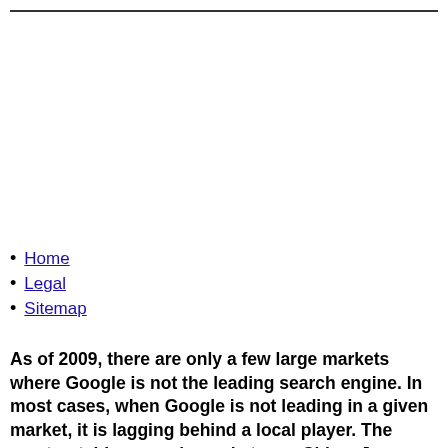Home
Legal
Sitemap
As of 2009, there are only a few large markets where Google is not the leading search engine. In most cases, when Google is not leading in a given market, it is lagging behind a local player. The most notable example markets are China, Japan, South Korea, Russia and the